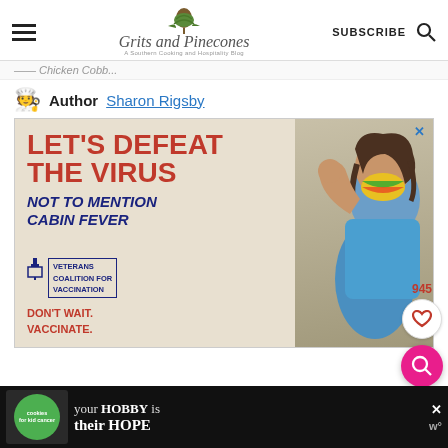Grits and Pinecones — A Southern Cooking and Hospitality Blog | SUBSCRIBE
Chicken Cobb...
Author Sharon Rigsby
[Figure (infographic): Public health advertisement: LET'S DEFEAT THE VIRUS - NOT TO MENTION CABIN FEVER. Shows woman flexing arm with colorful mask and bandage. Veterans Coalition for Vaccination. DON'T WAIT. VACCINATE.]
[Figure (infographic): Bottom banner ad: cookies for kid cancer - your HOBBY is their HOPE]